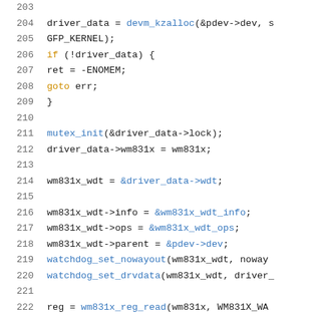[Figure (screenshot): Source code listing lines 203-224, C programming language, showing kernel driver initialization code for wm831x watchdog timer.]